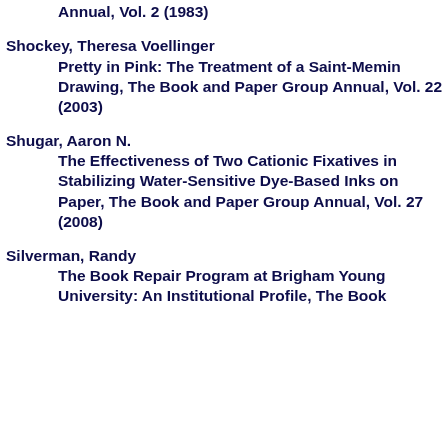Annual, Vol. 2 (1983)
Shockey, Theresa Voellinger
	Pretty in Pink: The Treatment of a Saint-Memin Drawing, The Book and Paper Group Annual, Vol. 22 (2003)
Shugar, Aaron N.
	The Effectiveness of Two Cationic Fixatives in Stabilizing Water-Sensitive Dye-Based Inks on Paper, The Book and Paper Group Annual, Vol. 27 (2008)
Silverman, Randy
	The Book Repair Program at Brigham Young University: An Institutional Profile, The Book